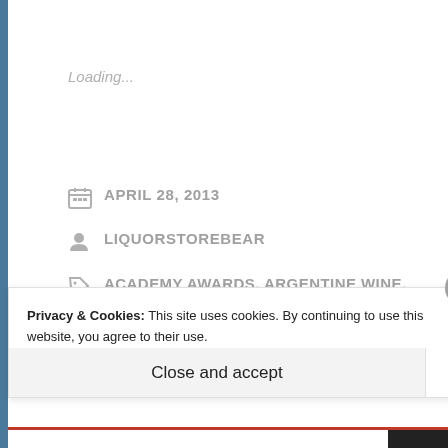Loading...
APRIL 28, 2013
LIQUORSTOREBEAR
ACADEMY AWARDS, ARGENTINE WINE, ARGENTINIAN WINE, BLOGGING, BLOGGING AWARD, CUMA, FINCA LOS PRIMOS, HUMOR,
Privacy & Cookies: This site uses cookies. By continuing to use this website, you agree to their use.
To find out more, including how to control cookies, see here: Cookie Policy
Close and accept